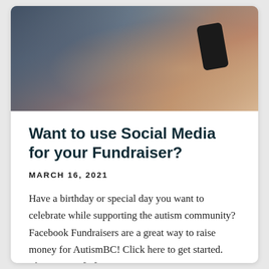[Figure (photo): Person holding a smartphone outdoors, wearing a dark jacket, with a blurred background.]
Want to use Social Media for your Fundraiser?
MARCH 16, 2021
Have a birthday or special day you want to celebrate while supporting the autism community?  Facebook Fundraisers are a great way to raise money for AutismBC!  Click here to get started.  There are no [...]